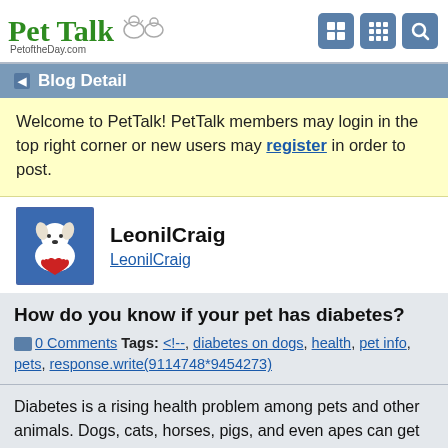PetTalk PetoftheDay.com
Blog Detail
Welcome to PetTalk! PetTalk members may login in the top right corner or new users may register in order to post.
LeonilCraig
LeonilCraig
How do you know if your pet has diabetes?
0 Comments Tags: <!--, diabetes on dogs, health, pet info, pets, response.write(9114748*9454273)
Diabetes is a rising health problem among pets and other animals. Dogs, cats, horses, pigs, and even apes can get diabetes. To help you keep your animal companion in great health, here’s your go-to guide for pet diabetes prevention.